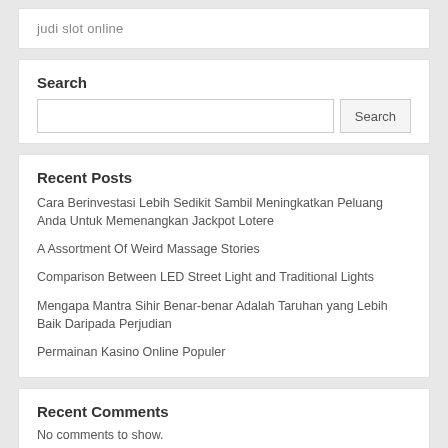judi slot online
Search
Recent Posts
Cara Berinvestasi Lebih Sedikit Sambil Meningkatkan Peluang Anda Untuk Memenangkan Jackpot Lotere
A Assortment Of Weird Massage Stories
Comparison Between LED Street Light and Traditional Lights
Mengapa Mantra Sihir Benar-benar Adalah Taruhan yang Lebih Baik Daripada Perjudian
Permainan Kasino Online Populer
Recent Comments
No comments to show.